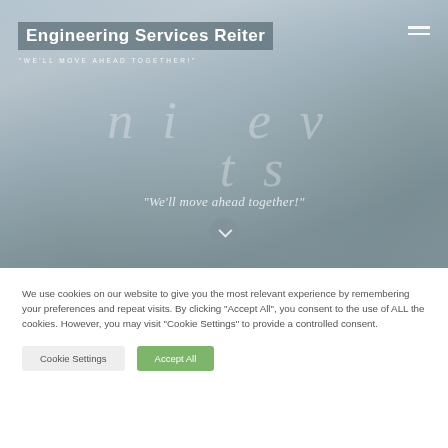Engineering Services Reiter
"WE'LL MOVE AHEAD TOGETHER!"
[Figure (photo): Hero image with stairs/path perspective between stone walls, muted blue-grey tones, decorative large italic text overlay reading partial letters, with tagline 'We'll move ahead together!' and a circular scroll-down button]
We use cookies on our website to give you the most relevant experience by remembering your preferences and repeat visits. By clicking "Accept All", you consent to the use of ALL the cookies. However, you may visit "Cookie Settings" to provide a controlled consent.
Cookie Settings
Accept All